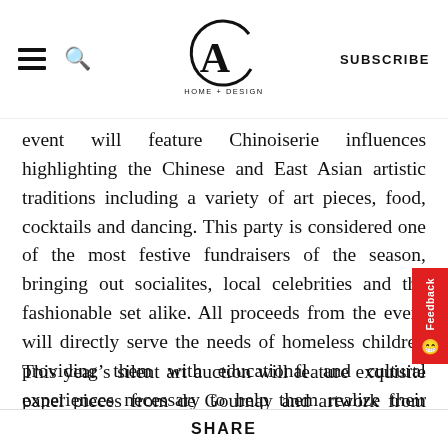CA HOME + DESIGN | SUBSCRIBE
event will feature Chinoiserie influences highlighting the Chinese and East Asian artistic traditions including a variety of art pieces, food, cocktails and dancing. This party is considered one of the most festive fundraisers of the season, bringing out socialites, local celebrities and the fashionable set alike. All proceeds from the event will directly serve the needs of homeless children providing them with educational and cultural experiences necessary to help them realize their potential and break the cycle of poverty.
This year’s silent art auction will feature exquisite panel pieces from de Gournay and artwork from Berggruen Gallery, Tineke Triaas, Artistic Designs for Living, Farell
SHARE